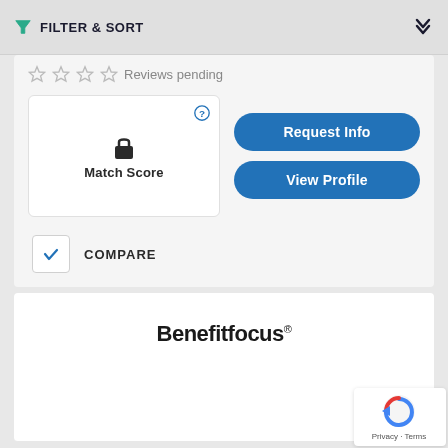FILTER & SORT
Reviews pending
Match Score
Request Info
View Profile
COMPARE
Benefitfocus
Privacy · Terms